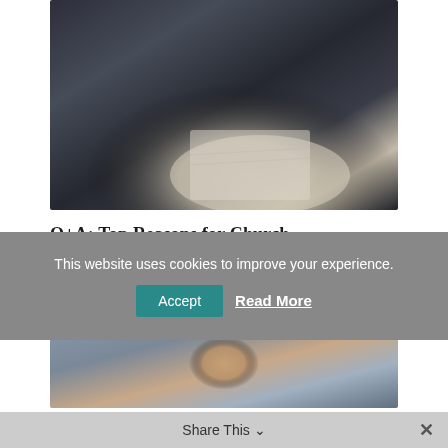[Figure (photo): People seated in rows, some holding open books or notebooks, viewed from a slightly elevated angle. Casual church or lecture audience setting.]
Q+A: Top Reasons for Church Attendance
[Figure (photo): Close-up of a young man with eyes closed and slight smile, blurred background with warm tones.]
This website uses cookies to improve your experience.
Accept
Read More
Share This